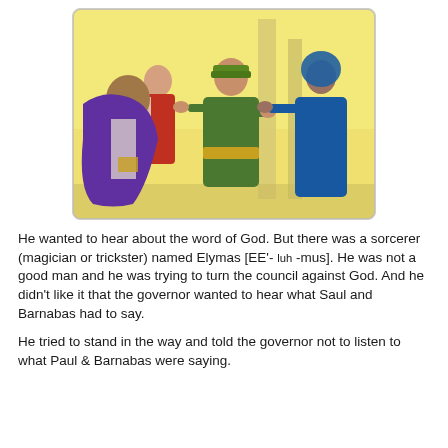[Figure (illustration): A Biblical illustration showing several figures in ancient robes. A man in a purple cloak is seen from behind, facing a man in a green robe with a yellow sash and green headband. Another figure in blue/teal robes gestures toward a column. A man in a red robe stands in the background. The scene depicts a confrontation, likely Elymas opposing Paul and Barnabas before the governor.]
He wanted to hear about the word of God. But there was a sorcerer (magician or trickster) named Elymas [EE'- luh -mus]. He was not a good man and he was trying to turn the council against God. And he didn't like it that the governor wanted to hear what Saul and Barnabas had to say.
He tried to stand in the way and told the governor not to listen to what Paul & Barnabas were saying.